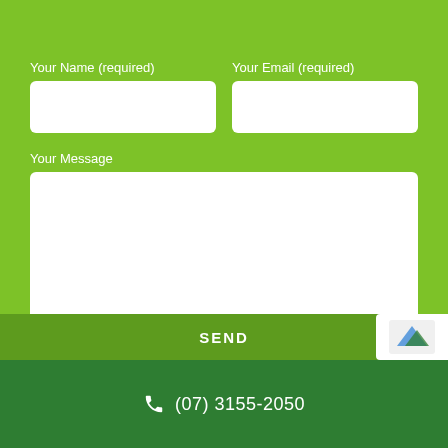Your Name (required)
Your Email (required)
Your Message
SEND
(07) 3155-2050